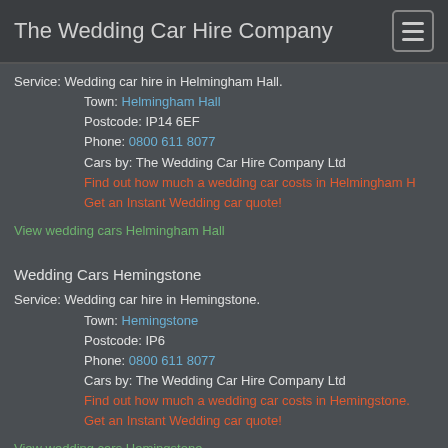The Wedding Car Hire Company
Service: Wedding car hire in Helmingham Hall.
Town: Helmingham Hall
Postcode: IP14 6EF
Phone: 0800 611 8077
Cars by: The Wedding Car Hire Company Ltd
Find out how much a wedding car costs in Helmingham H...
Get an Instant Wedding car quote!
View wedding cars Helmingham Hall
Wedding Cars Hemingstone
Service: Wedding car hire in Hemingstone.
Town: Hemingstone
Postcode: IP6
Phone: 0800 611 8077
Cars by: The Wedding Car Hire Company Ltd
Find out how much a wedding car costs in Hemingstone.
Get an Instant Wedding car quote!
View wedding cars Hemingstone.